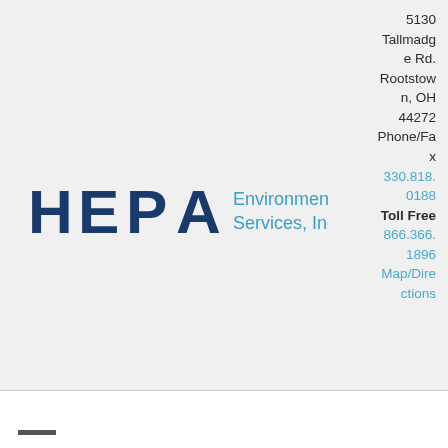[Figure (logo): HEPA Environmental Services, Inc. logo with bold dark blue HEPA lettering and blue text for Environmental Services, Inc.]
5130 Tallmadge Rd. Rootstown, OH 44272 Phone/Fax 330.818.0188 Toll Free 866.366.1896 Map/Directions